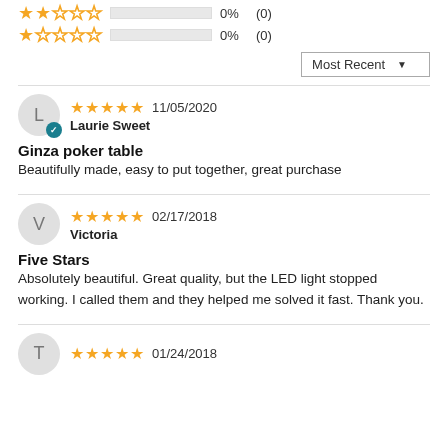2 stars: 0% (0)
1 star: 0% (0)
Sort: Most Recent
Reviewer: Laurie Sweet | 11/05/2020 | 5 stars | Verified
Ginza poker table
Beautifully made, easy to put together, great purchase
Reviewer: Victoria | 02/17/2018 | 5 stars
Five Stars
Absolutely beautiful. Great quality, but the LED light stopped working. I called them and they helped me solved it fast. Thank you.
Reviewer: T | 01/24/2018 | 5 stars